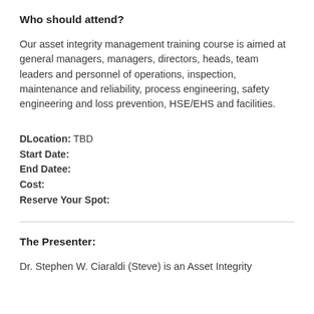Who should attend?
Our asset integrity management training course is aimed at general managers, managers, directors, heads, team leaders and personnel of operations, inspection, maintenance and reliability, process engineering, safety engineering and loss prevention, HSE/EHS and facilities.
DLocation: TBD
Start Date:
End Datee:
Cost:
Reserve Your Spot:
The Presenter:
Dr. Stephen W. Ciaraldi (Steve) is an Asset Integrity